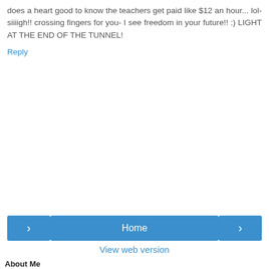does a heart good to know the teachers get paid like $12 an hour... lol- siiiigh!! crossing fingers for you- I see freedom in your future!! :) LIGHT AT THE END OF THE TUNNEL!
Reply
[Figure (other): Navigation bar with left arrow button, Home center button, and right arrow button, plus View web version link below]
About Me
[Figure (photo): Profile photo of craftyashley, a woman with brown hair smiling]
craftyashley
I am the mother of twin girls, a baby, and dogs of terror, I am fighting off insanity, I am trying to take a nap!